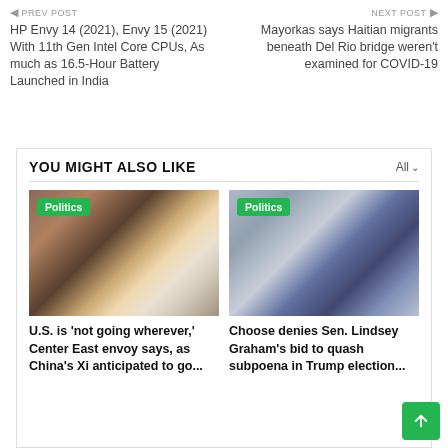PREV POST | NEXT POST
HP Envy 14 (2021), Envy 15 (2021) With 11th Gen Intel Core CPUs, As much as 16.5-Hour Battery Launched in India
Mayorkas says Haitian migrants beneath Del Rio bridge weren't examined for COVID-19
YOU MIGHT ALSO LIKE
[Figure (photo): Group of political figures walking, with Politics badge]
U.S. is 'not going wherever,' Center East envoy says, as China's Xi anticipated to go...
[Figure (photo): Man in suit pointing finger, with Politics badge]
Choose denies Sen. Lindsey Graham's bid to quash subpoena in Trump election...